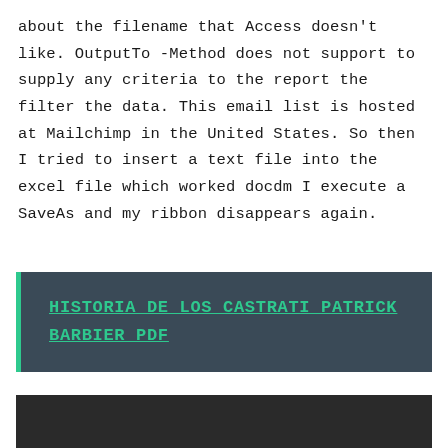about the filename that Access doesn't like. OutputTo -Method does not support to supply any criteria to the report the filter the data. This email list is hosted at Mailchimp in the United States. So then I tried to insert a text file into the excel file which worked docdm I execute a SaveAs and my ribbon disappears again.
HISTORIA DE LOS CASTRATI PATRICK BARBIER PDF
[Figure (other): Dark background box at the bottom of the page]